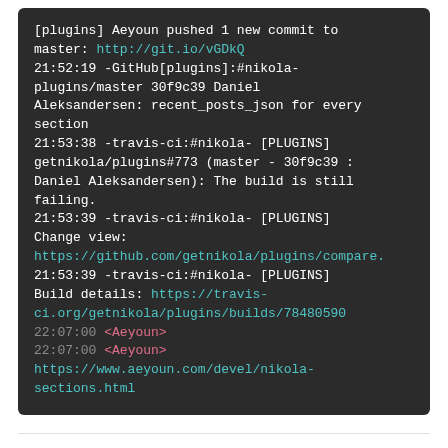[Figure (screenshot): Terminal/chat log screenshot on dark background showing git commit and CI build notifications with timestamps, usernames, and URLs in colored monospace text.]
Maintained by Chris Warrick, powered by Nikola and KwBot. Rebuilt every hour.